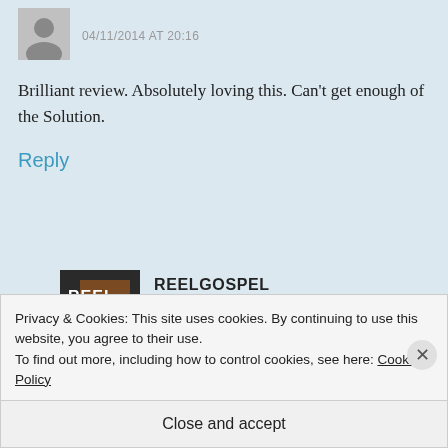04/11/2014 AT 20:16
Brilliant review. Absolutely loving this. Can't get enough of the Solution.
Reply
REELGOSPEL 04/11/2014 AT 22:39
Privacy & Cookies: This site uses cookies. By continuing to use this website, you agree to their use.
To find out more, including how to control cookies, see here: Cookie Policy
Close and accept